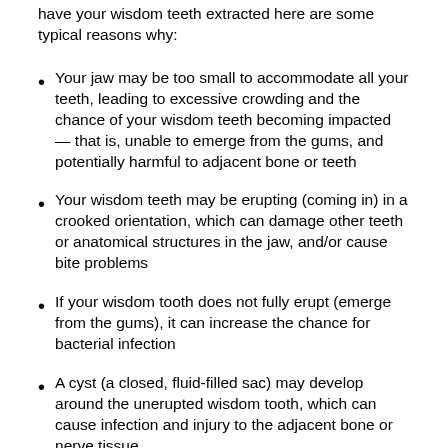have your wisdom teeth extracted here are some typical reasons why:
Your jaw may be too small to accommodate all your teeth, leading to excessive crowding and the chance of your wisdom teeth becoming impacted — that is, unable to emerge from the gums, and potentially harmful to adjacent bone or teeth
Your wisdom teeth may be erupting (coming in) in a crooked orientation, which can damage other teeth or anatomical structures in the jaw, and/or cause bite problems
If your wisdom tooth does not fully erupt (emerge from the gums), it can increase the chance for bacterial infection
A cyst (a closed, fluid-filled sac) may develop around the unerupted wisdom tooth, which can cause infection and injury to the adjacent bone or nerve tissue
Whether it is aimed at preventing future problems or treating already existing conditions, or both, the